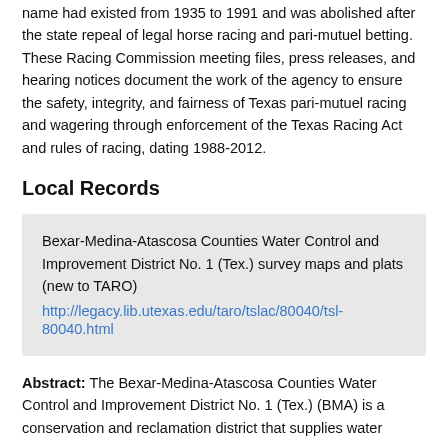name had existed from 1935 to 1991 and was abolished after the state repeal of legal horse racing and pari-mutuel betting. These Racing Commission meeting files, press releases, and hearing notices document the work of the agency to ensure the safety, integrity, and fairness of Texas pari-mutuel racing and wagering through enforcement of the Texas Racing Act and rules of racing, dating 1988-2012.
Local Records
Bexar-Medina-Atascosa Counties Water Control and Improvement District No. 1 (Tex.) survey maps and plats (new to TARO) http://legacy.lib.utexas.edu/taro/tslac/80040/tsl-80040.html
Abstract: The Bexar-Medina-Atascosa Counties Water Control and Improvement District No. 1 (Tex.) (BMA) is a conservation and reclamation district that supplies water